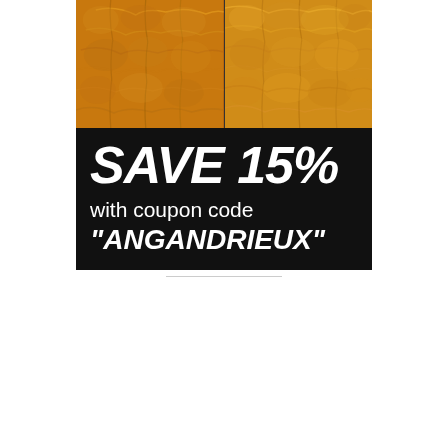[Figure (photo): Two side-by-side close-up photos of orange/amber colored textured material (possibly skin or natural surface) with cracked cell-like patterns. Left half slightly different tone from right half.]
SAVE 15%
with coupon code
"ANGANDRIEUX"